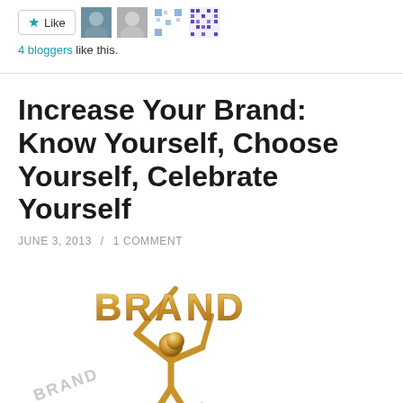[Figure (screenshot): Like button with star icon and four blogger avatar thumbnails]
4 bloggers like this.
Increase Your Brand: Know Yourself, Choose Yourself, Celebrate Yourself
JUNE 3, 2013 / 1 COMMENT
[Figure (illustration): 3D gold figure holding a sign that says BRAND, with smaller BRAND text signs scattered around in perspective]